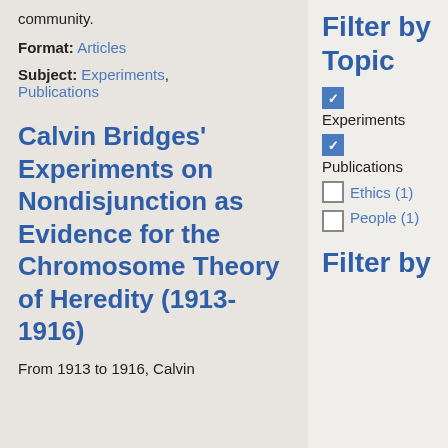community.
Format: Articles
Subject: Experiments, Publications
Calvin Bridges' Experiments on Nondisjunction as Evidence for the Chromosome Theory of Heredity (1913-1916)
From 1913 to 1916, Calvin
Filter by Topic
Experiments
Publications
Ethics (1)
People (1)
Filter by